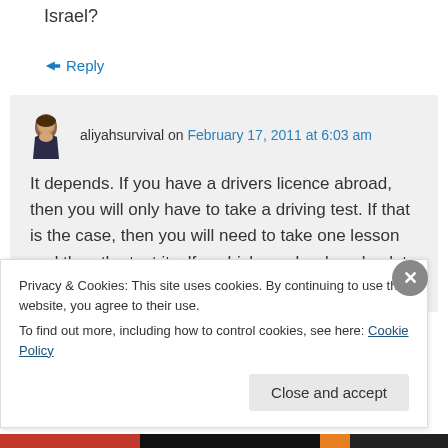Israel?
↪ Reply
aliyahsurvival on February 17, 2011 at 6:03 am
It depends. If you have a drivers licence abroad, then you will only have to take a driving test. If that is the case, then you will need to take one lesson and then the test itself – which can be done back to back. On
Privacy & Cookies: This site uses cookies. By continuing to use this website, you agree to their use.
To find out more, including how to control cookies, see here: Cookie Policy
Close and accept